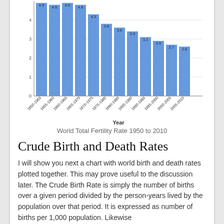[Figure (bar-chart): World Total Fertility Rate 1950 to 2010]
World Total Fertility Rate 1950 to 2010
Crude Birth and Death Rates
I will show you next a chart with world birth and death rates plotted together. This may prove useful to the discussion later. The Crude Birth Rate is simply the number of births over a given period divided by the person-years lived by the population over that period. It is expressed as number of births per 1,000 population. Likewise